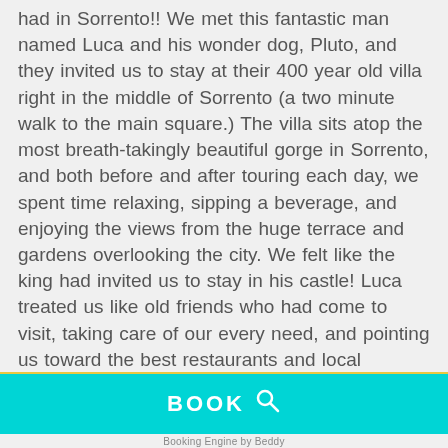had in Sorrento!! We met this fantastic man named Luca and his wonder dog, Pluto, and they invited us to stay at their 400 year old villa right in the middle of Sorrento (a two minute walk to the main square.) The villa sits atop the most breath-takingly beautiful gorge in Sorrento, and both before and after touring each day, we spent time relaxing, sipping a beverage, and enjoying the views from the huge terrace and gardens overlooking the city. We felt like the king had invited us to stay in his castle! Luca treated us like old friends who had come to visit, taking care of our every need, and pointing us toward the best restaurants and local attractions. Do yourself a great favor— live graciously in Sorrento for a few days at Relais La Rupe instead of camping out at hotel. Ciao, Luca and Pluto.
[Figure (other): Cyan/turquoise booking button bar with BOOK text and search icon]
Booking Engine by Beddy